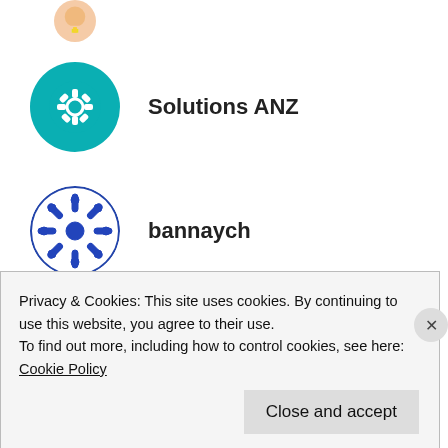[Figure (illustration): Partial view of a cartoon avatar (head with yellow tie) at the very top, cropped]
Solutions ANZ — teal circle icon with gear/settings symbol
bannaych — blue snowflake/circular pattern icon
Sergio J. Castro — photo avatar of a man in a suit, name in blue link style
CollenHR — partial photo avatar of a blonde person, name in blue link style, partially cropped
Privacy & Cookies: This site uses cookies. By continuing to use this website, you agree to their use.
To find out more, including how to control cookies, see here:
Cookie Policy
Close and accept